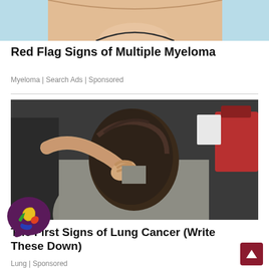[Figure (illustration): Partial illustration of a cartoon/medical figure — cropped, showing light skin tones and blue background, top portion of image only]
Red Flag Signs of Multiple Myeloma
Myeloma | Search Ads | Sponsored
[Figure (photo): Photograph of a woman seen from behind, her hand reaching to the back of her neck/upper back, wearing a grey knit sweater. A red object is visible in the background. Indoor setting.]
The First Signs of Lung Cancer (Write These Down)
Lung | Sponsored